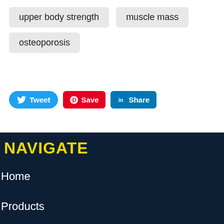upper body strength
muscle mass
osteoporosis
Tweet  Save  Share
NAVIGATE
Home
Products